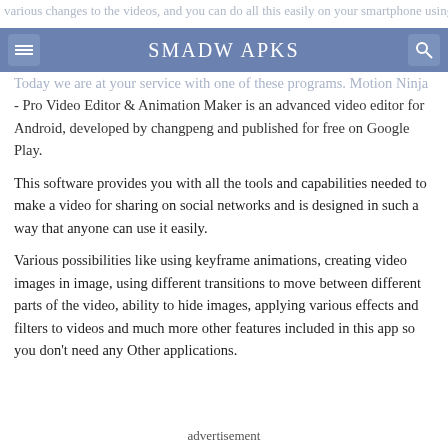SMADW APKS
Today we are at your service with one of these programs. Motion Ninja - Pro Video Editor & Animation Maker is an advanced video editor for Android, developed by changpeng and published for free on Google Play.
This software provides you with all the tools and capabilities needed to make a video for sharing on social networks and is designed in such a way that anyone can use it easily.
Various possibilities like using keyframe animations, creating video images in image, using different transitions to move between different parts of the video, ability to hide images, applying various effects and filters to videos and much more other features included in this app so you don't need any Other applications.
advertisement